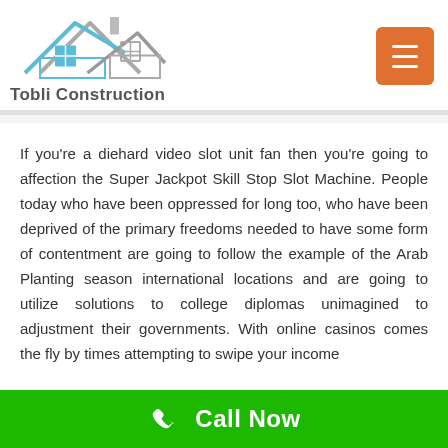[Figure (logo): Tobli Construction logo: house outline with blue and gray roof, blue window grid, gray chimney, text 'Tobli Construction' below]
If you're a diehard video slot unit fan then you're going to affection the Super Jackpot Skill Stop Slot Machine. People today who have been oppressed for long too, who have been deprived of the primary freedoms needed to have some form of contentment are going to follow the example of the Arab Planting season international locations and are going to utilize solutions to college diplomas unimagined to adjustment their governments. With online casinos comes the fly by times attempting to swipe your income
[Figure (other): Green Call Now bar at bottom with phone icon and white text 'Call Now']